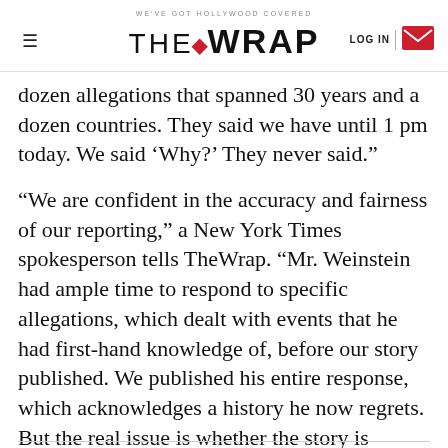WE'VE GOT HOLLYWOOD COVERED | THE WRAP | LOG IN
dozen allegations that spanned 30 years and a dozen countries. They said we have until 1 pm today. We said ‘Why?’ They never said.”
“We are confident in the accuracy and fairness of our reporting,” a New York Times spokesperson tells TheWrap. “Mr. Weinstein had ample time to respond to specific allegations, which dealt with events that he had first-hand knowledge of, before our story published. We published his entire response, which acknowledges a history he now regrets. But the real issue is whether the story is accurate. Mr. Weinstein has not challenged any facts in our story.”